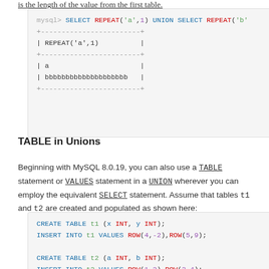is the length of the value from the first table.
mysql> SELECT REPEAT('a',1) UNION SELECT REPEAT('b'
+------------------------+
| REPEAT('a',1)          |
+------------------------+
| a                      |
| bbbbbbbbbbbbbbbbbbbb   |
+------------------------+
TABLE in Unions
Beginning with MySQL 8.0.19, you can also use a TABLE statement or VALUES statement in a UNION wherever you can employ the equivalent SELECT statement. Assume that tables t1 and t2 are created and populated as shown here:
CREATE TABLE t1 (x INT, y INT);
INSERT INTO t1 VALUES ROW(4,-2),ROW(5,9);

CREATE TABLE t2 (a INT, b INT);
INSERT INTO t2 VALUES ROW(1,2),ROW(3,4);